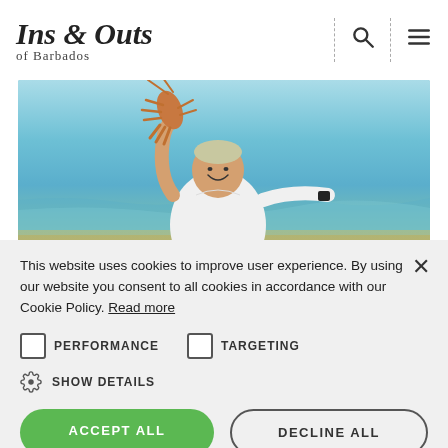[Figure (logo): Ins & Outs of Barbados cursive logo with search and menu icons in header]
[Figure (photo): Man in white polo shirt holding up a large lobster at the beach with turquoise water in background]
This website uses cookies to improve user experience. By using our website you consent to all cookies in accordance with our Cookie Policy. Read more
PERFORMANCE
TARGETING
SHOW DETAILS
ACCEPT ALL
DECLINE ALL
POWERED BY COOKIE-SCRIPT